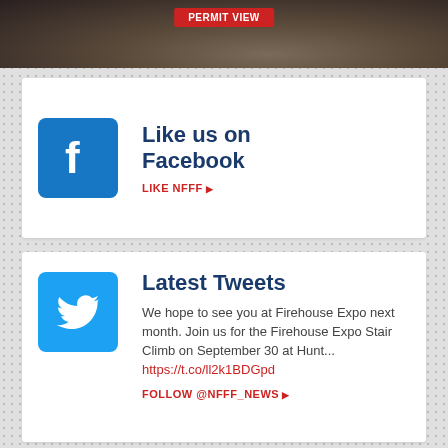[Figure (photo): Top banner image showing outdoor scene with dark background and a red button labeled 'PERMIT VIEW']
[Figure (logo): Facebook logo icon - white 'f' on blue square background]
Like us on Facebook
LIKE NFFF ▶
[Figure (logo): Twitter bird logo icon - white bird on light blue square background]
Latest Tweets
We hope to see you at Firehouse Expo next month. Join us for the Firehouse Expo Stair Climb on September 30 at Hunt... https://t.co/ll2k1BDGpd
FOLLOW @NFFF_NEWS ▶
National Fallen Firefighters